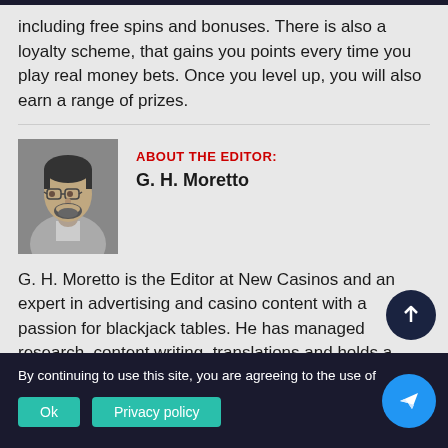including free spins and bonuses. There is also a loyalty scheme, that gains you points every time you play real money bets. Once you level up, you will also earn a range of prizes.
[Figure (photo): Black and white portrait photo of G. H. Moretto, a man with glasses and beard]
ABOUT THE EDITOR: G. H. Moretto
G. H. Moretto is the Editor at New Casinos and an expert in advertising and casino content with a passion for blackjack tables. He has managed research, content writing, translations and holds a degree in Social Communication with honours in Advertising, bringing to the table a decade of
By continuing to use this site, you are agreeing to the use of